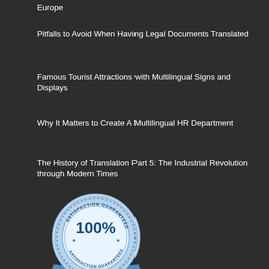Europe
Pitfalls to Avoid When Having Legal Documents Translated
Famous Tourist Attractions with Multilingual Signs and Displays
Why It Matters to Create A Multilingual HR Department
The History of Translation Part 5: The Industrial Revolution through Modern Times
[Figure (logo): 100% Satisfaction Guaranteed badge/seal in blue and silver tones]